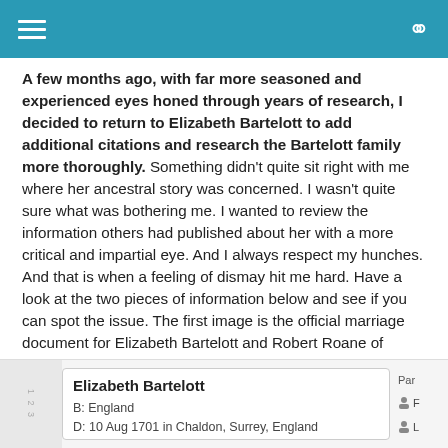navigation bar with menu and search icons
A few months ago, with far more seasoned and experienced eyes honed through years of research, I decided to return to Elizabeth Bartelott to add additional citations and research the Bartelott family more thoroughly. Something didn't quite sit right with me where her ancestral story was concerned. I wasn't quite sure what was bothering me. I wanted to review the information others had published about her with a more critical and impartial eye. And I always respect my hunches. And that is when a feeling of dismay hit me hard. Have a look at the two pieces of information below and see if you can spot the issue. The first image is the official marriage document for Elizabeth Bartelott and Robert Roane of Surrey, England. The second is the family tree I 'inherited' from all the other family trees which listed Elizabeth.
[Figure (other): Partial family tree card showing Elizabeth Bartelott, born in England, died 10 Aug 1701 in Chaldon, Surrey, England, with parent links on the right side.]